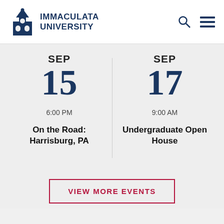IMMACULATA UNIVERSITY
SEP
15
6:00 PM
On the Road: Harrisburg, PA
SEP
17
9:00 AM
Undergraduate Open House
VIEW MORE EVENTS